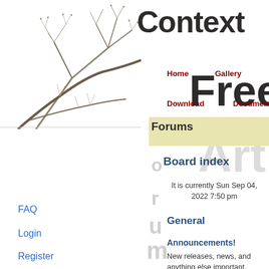[Figure (photo): Bare tree branches on white background, left side of page]
Context
Home  Gallery  Download  Documentation  Forums
Free
Forums
Board index
It is currently Sun Sep 04, 2022 7:50 pm
General
Announcements!
New releases, news, and anything else important.
Moderators: MtnViewJohn,
FAQ
Login
Register
All times are UTC-07:00
Delete cookies
Contact us